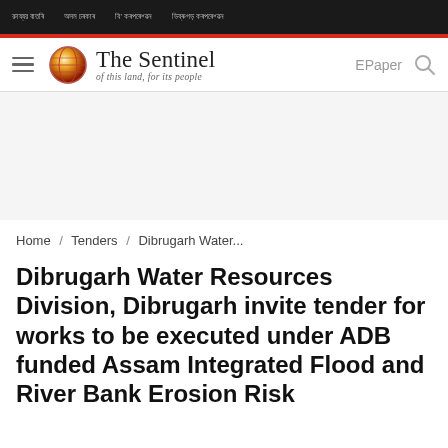ৰাজ্যৰ বাতৰি  |  অসম চৰকাৰ  |  বি' কৰপৰেশ্বন  |  ডিব্ৰুগড় কৰপৰেশ্বন
[Figure (logo): The Sentinel newspaper logo with globe icon and tagline 'of this land, for its people']
Home / Tenders / Dibrugarh Water...
Dibrugarh Water Resources Division, Dibrugarh invite tender for works to be executed under ADB funded Assam Integrated Flood and River Bank Erosion Risk